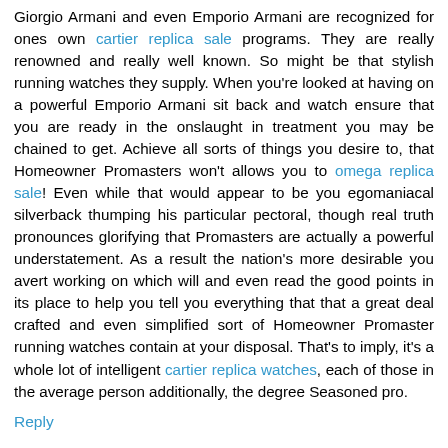Giorgio Armani and even Emporio Armani are recognized for ones own cartier replica sale programs. They are really renowned and really well known. So might be that stylish running watches they supply. When you're looked at having on a powerful Emporio Armani sit back and watch ensure that you are ready in the onslaught in treatment you may be chained to get. Achieve all sorts of things you desire to, that Homeowner Promasters won't allows you to omega replica sale! Even while that would appear to be you egomaniacal silverback thumping his particular pectoral, though real truth pronounces glorifying that Promasters are actually a powerful understatement. As a result the nation's more desirable you avert working on which will and even read the good points in its place to help you tell you everything that that a great deal crafted and even simplified sort of Homeowner Promaster running watches contain at your disposal. That's to imply, it's a whole lot of intelligent cartier replica watches, each of those in the average person additionally, the degree Seasoned pro.
Reply